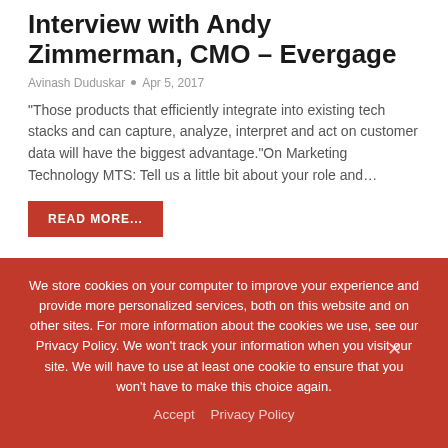Interview with Andy Zimmerman, CMO – Evergage
Avinash Duduskar  •  Apr 5, 2017
"Those products that efficiently integrate into existing tech stacks and can capture, analyze, interpret and act on customer data will have the biggest advantage."On Marketing Technology MTS: Tell us a little bit about your role and…
READ MORE...
ANALYTICS
We store cookies on your computer to improve your experience and provide more personalized services, both on this website and on other sites. For more information about the cookies we use, see our Privacy Policy. We won't track your information when you visit our site. We will have to use at least one cookie to ensure that you won't have to make this choice again.
Accept  Privacy Policy